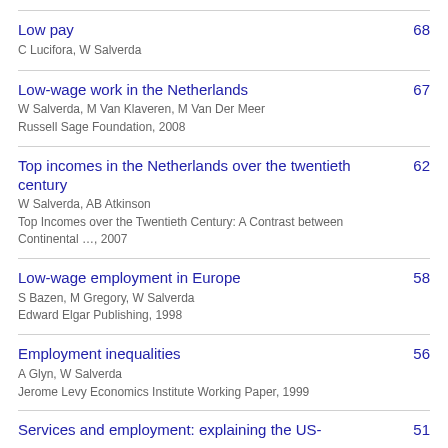Low pay — C Lucifora, W Salverda — 68
Low-wage work in the Netherlands — W Salverda, M Van Klaveren, M Van Der Meer — Russell Sage Foundation, 2008 — 67
Top incomes in the Netherlands over the twentieth century — W Salverda, AB Atkinson — Top Incomes over the Twentieth Century: A Contrast between Continental …, 2007 — 62
Low-wage employment in Europe — S Bazen, M Gregory, W Salverda — Edward Elgar Publishing, 1998 — 58
Employment inequalities — A Glyn, W Salverda — Jerome Levy Economics Institute Working Paper, 1999 — 56
Services and employment: explaining the US- — 51